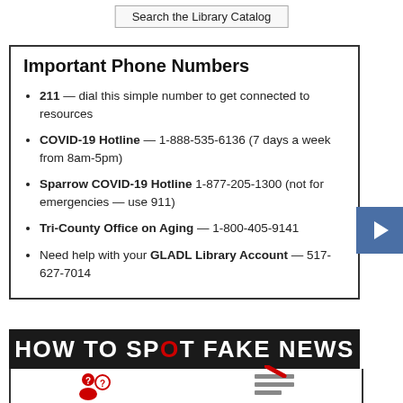Search the Library Catalog
Important Phone Numbers
211 — dial this simple number to get connected to resources
COVID-19 Hotline — 1-888-535-6136 (7 days a week from 8am-5pm)
Sparrow COVID-19 Hotline 1-877-205-1300 (not for emergencies — use 911)
Tri-County Office on Aging — 1-800-405-9141
Need help with your GLADL Library Account — 517-627-7014
[Figure (infographic): HOW TO SPOT FAKE NEWS banner with magnifying glass graphic and icons below]